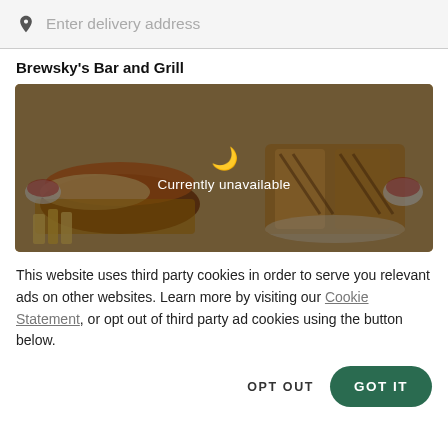Enter delivery address
Brewsky's Bar and Grill
[Figure (photo): Food photo showing burgers, sandwiches, and fries with a dark overlay displaying a moon icon and 'Currently unavailable' text]
This website uses third party cookies in order to serve you relevant ads on other websites. Learn more by visiting our Cookie Statement, or opt out of third party ad cookies using the button below.
OPT OUT
GOT IT